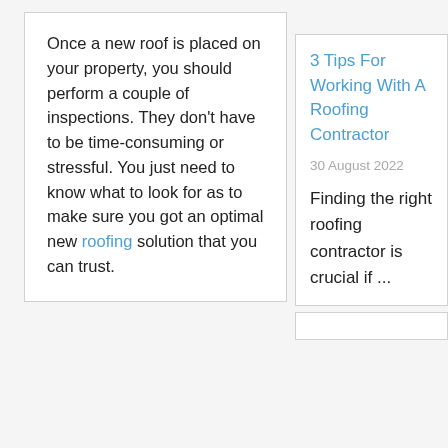Once a new roof is placed on your property, you should perform a couple of inspections. They don't have to be time-consuming or stressful. You just need to know what to look for as to make sure you got an optimal new roofing solution that you can trust.
3 Tips For Working With A Roofing Contractor
30 August 2022
Finding the right roofing contractor is crucial if ...